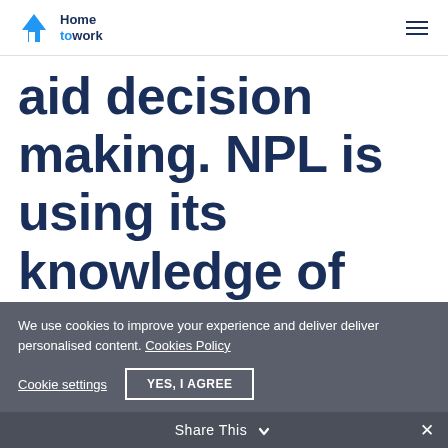Home to work
aid decision making. NPL is using its knowledge of uncertainty propagation and traceability to
We use cookies to improve your experience and deliver deliver personalised content. Cookies Policy
Cookie settings   YES, I AGREE
Share This ✕